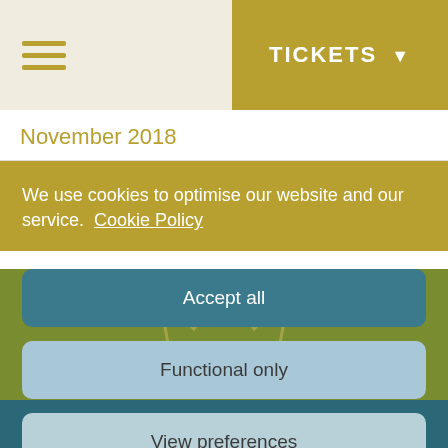[Figure (screenshot): Hamburger menu icon with three horizontal gold lines]
TICKETS ▼
November 2018
We use cookies to optimise our website and our service.  Cookie Policy
[Figure (logo): Regal Cinema crown logo with text REGAL CINEMA and year 1936]
Accept all
Functional only
View preferences
HOME    GIFT CARDS